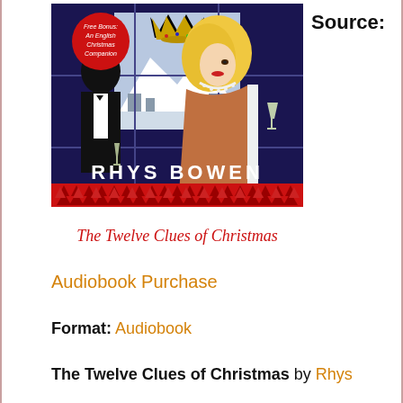Source:
[Figure (illustration): Book cover of 'The Twelve Clues of Christmas' by Rhys Bowen. Shows a glamorous blonde woman in a backless white dress and a male silhouette in a tuxedo, set against a winter scene through a windowed backdrop with a crown motif. A red circular badge reads 'Free Bonus: An English Christmas Companion'. The author's name 'RHYS BOWEN' appears in large letters, and the title 'The Twelve Clues of Christmas' is in decorative script below.]
Audiobook Purchase
Format: Audiobook
The Twelve Clues of Christmas by Rhys